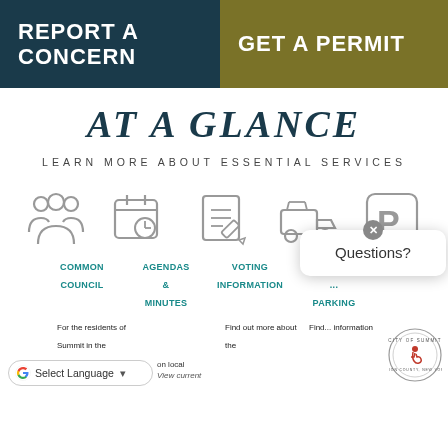REPORT A CONCERN
GET A PERMIT
AT A GLANCE
LEARN MORE ABOUT ESSENTIAL SERVICES
[Figure (infographic): Five icons in a row: group of people (Common Council), calendar with clock (Agendas & Minutes), notepad with pencil (Voting Information), dump truck (Trash), parking sign (Parking)]
COMMON COUNCIL
AGENDAS & MINUTES
VOTING INFORMATION
TRANS... PARKING
For the residents of Summit in the...
Find out more about the
Find... information
on local
View current
[Figure (other): Questions? tooltip popup with close button]
[Figure (logo): City of Summit, Union County New York seal/logo]